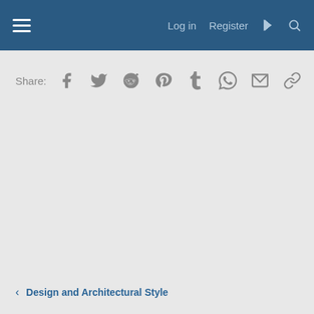Log in  Register
Share: [social media icons: Facebook, Twitter, Reddit, Pinterest, Tumblr, WhatsApp, Email, Link]
< Design and Architectural Style